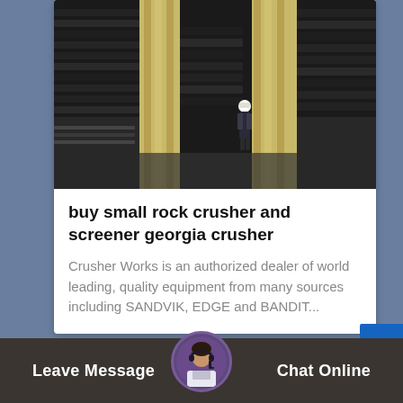[Figure (photo): Large industrial rock crusher machinery with black metal plates stacked high, a person in hard hat standing among them for scale, cream/yellow structural components visible]
buy small rock crusher and screener georgia crusher
Crusher Works is an authorized dealer of world leading, quality equipment from many sources including SANDVIK, EDGE and BANDIT...
[Figure (photo): Orange and black industrial rock crushing/screening equipment outdoors]
Leave Message
Chat Online